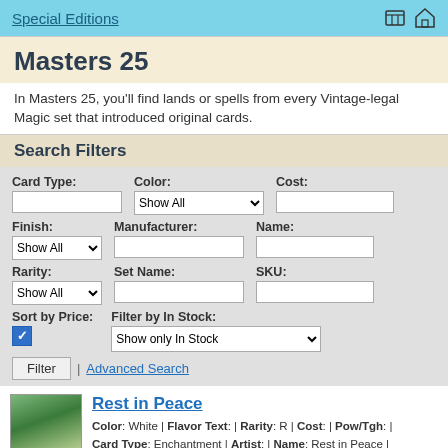Special Editions
Masters 25
In Masters 25, you'll find lands or spells from every Vintage-legal Magic set that introduced original cards.
Search Filters
Card Type: [input] Color: Show All [dropdown] Cost: [input] Finish: Show All [dropdown] Manufacturer: [input] Name: [input] Rarity: Show All [dropdown] Set Name: [input] SKU: [input] Sort by Price: [checkbox] Filter by In Stock: Show only In Stock [dropdown]
Filter | Advanced Search
Rest in Peace
Color: White | Flavor Text: | Rarity: R | Cost: | Pow/Tgh: | Card Type: Enchantment | Artist: | Name: Rest in Peace | Finish: Regular | Card Number: 32/249 | Set Name: Masters 25